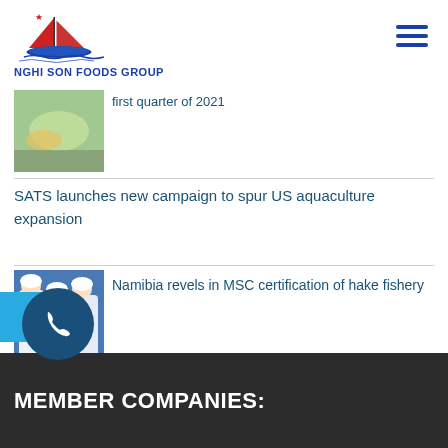NGHI SON FOODS GROUP
[Figure (photo): Thumbnail of shrimp/seafood with partial headline text above: first quarter of 2021]
first quarter of 2021
SATS launches new campaign to spur US aquaculture expansion
[Figure (photo): Workers in white protective gear processing fish on a production line]
Namibia revels in MSC certification of hake fishery
MEMBER COMPANIES: